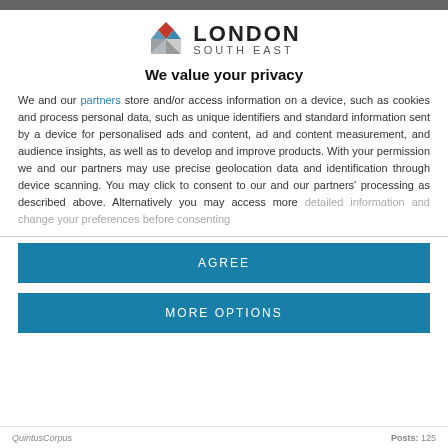[Figure (logo): London South East logo with geometric diamond shape in red, blue, and grey]
We value your privacy
We and our partners store and/or access information on a device, such as cookies and process personal data, such as unique identifiers and standard information sent by a device for personalised ads and content, ad and content measurement, and audience insights, as well as to develop and improve products. With your permission we and our partners may use precise geolocation data and identification through device scanning. You may click to consent to our and our partners' processing as described above. Alternatively you may access more detailed information and change your preferences before consenting
AGREE
MORE OPTIONS
OuintusCorpus  Posts: 125